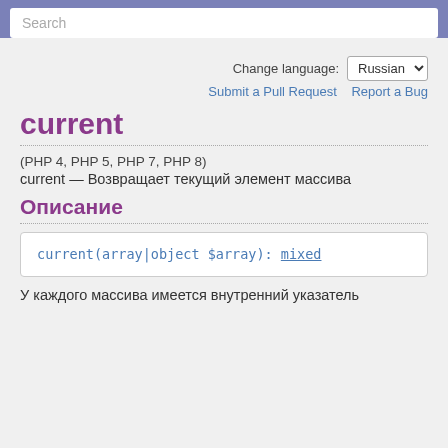Search
Change language: Russian
Submit a Pull Request   Report a Bug
current
(PHP 4, PHP 5, PHP 7, PHP 8)
current — Возвращает текущий элемент массива
Описание
current(array|object $array): mixed
У каждого массива имеется внутренний указатель